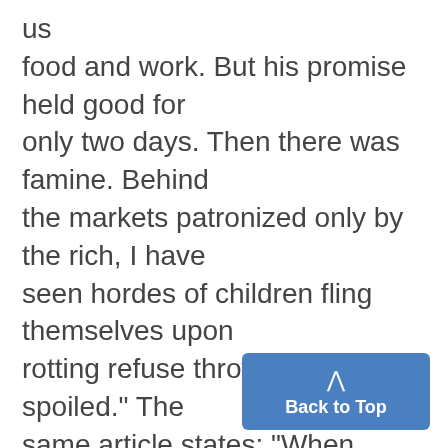us food and work. But his promise held good for only two days. Then there was famine. Behind the markets patronized only by the rich, I have seen hordes of children fling themselves upon rotting refuse thrown out as spoiled." The same article states: "When Franco rode into Madrid, he brought a bodyguard of ruthless and barbaristic Moors to protect hi...